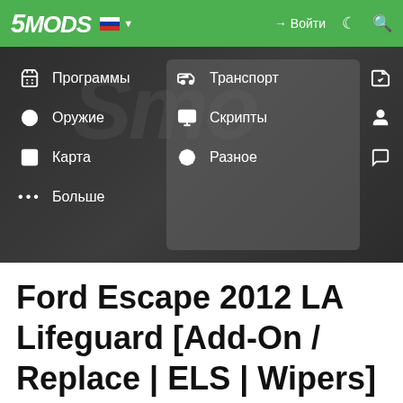[Figure (screenshot): 5MODS website navigation header with green navbar showing logo, Russian flag, sign-in and search icons, and an open dropdown menu with categories: Программы, Транспорт (highlighted), Раскраски, Оружие, Скрипты, Игрок, Карта, Разное, Форумы, Больше — displayed over a dark blurred background]
Ford Escape 2012 LA Lifeguard [Add-On / Replace | ELS | Wipers] 1.0